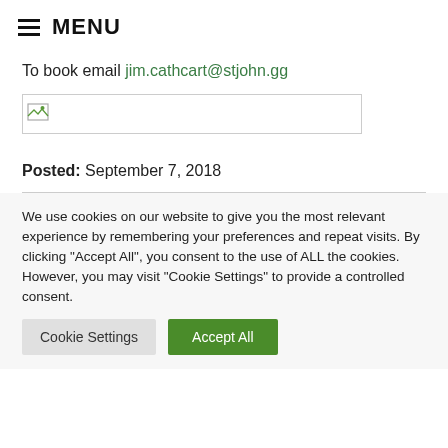MENU
To book email jim.cathcart@stjohn.gg
[Figure (other): Broken/placeholder image box with small image icon in top-left corner]
Posted: September 7, 2018
We use cookies on our website to give you the most relevant experience by remembering your preferences and repeat visits. By clicking “Accept All”, you consent to the use of ALL the cookies. However, you may visit “Cookie Settings” to provide a controlled consent.